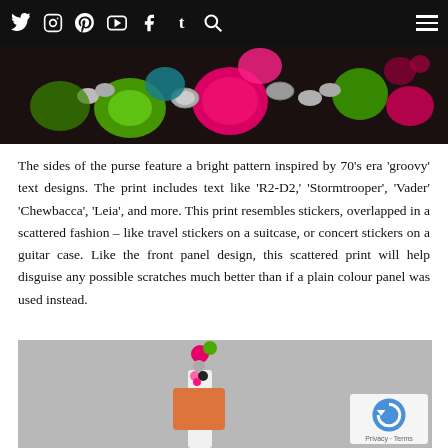Social media navigation icons: Twitter, Instagram, Pinterest, YouTube, Facebook, Tumblr, Search, Menu
[Figure (photo): Close-up of colorful beads and charms on a bracelet or bag strap — vivid pinks, greens, metallic silver rings against a dark background]
The sides of the purse feature a bright pattern inspired by 70’s era ‘groovy’ text designs. The print includes text like ‘R2-D2,’ ‘Stormtrooper’, ‘Vader’ ‘Chewbacca’, ‘Leia’, and more. This print resembles stickers, overlapped in a scattered fashion – like travel stickers on a suitcase, or concert stickers on a guitar case. Like the front panel design, this scattered print will help disguise any possible scratches much better than if a plain colour panel was used instead.
[Figure (photo): A purse/bag displayed on a white mannequin stand against a grey background, showing colorful beaded strap and decorative patterned body]